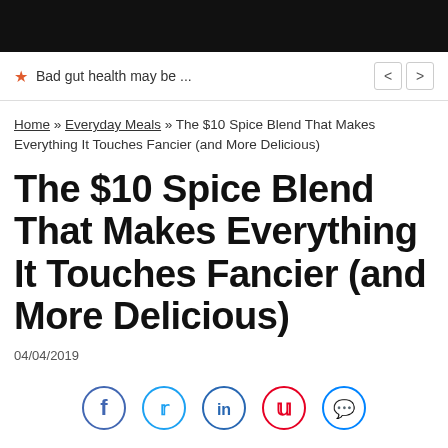[Figure (screenshot): Black header bar at top of webpage]
Bad gut health may be ...
Home » Everyday Meals » The $10 Spice Blend That Makes Everything It Touches Fancier (and More Delicious)
The $10 Spice Blend That Makes Everything It Touches Fancier (and More Delicious)
04/04/2019
[Figure (infographic): Social sharing icons: Facebook (blue circle), Twitter (blue circle), LinkedIn (blue circle), Pinterest (red circle), Messenger (blue circle)]